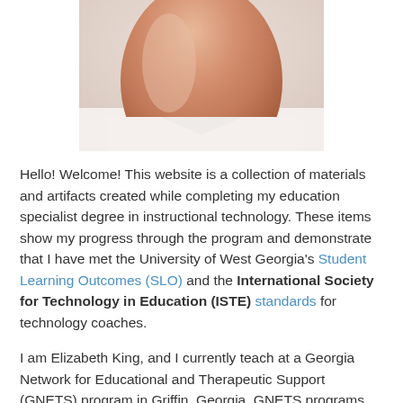[Figure (photo): Partial photo of a person (bottom portion visible), showing skin tone and white shirt/collar against a light background.]
Hello! Welcome! This website is a collection of materials and artifacts created while completing my education specialist degree in instructional technology. These items show my progress through the program and demonstrate that I have met the University of West Georgia's Student Learning Outcomes (SLO) and the International Society for Technology in Education (ISTE) standards for technology coaches.
I am Elizabeth King, and I currently teach at a Georgia Network for Educational and Therapeutic Support (GNETS) program in Griffin, Georgia. GNETS programs serve special education students who might otherwise require